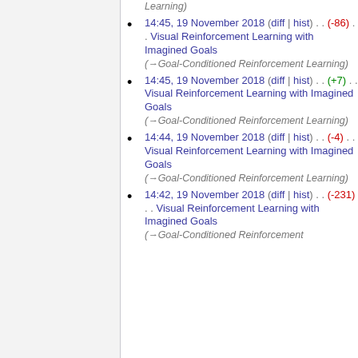14:45, 19 November 2018 (diff | hist) . . (-86) . . Visual Reinforcement Learning with Imagined Goals (→Goal-Conditioned Reinforcement Learning)
14:45, 19 November 2018 (diff | hist) . . (+7) . . Visual Reinforcement Learning with Imagined Goals (→Goal-Conditioned Reinforcement Learning)
14:44, 19 November 2018 (diff | hist) . . (-4) . . Visual Reinforcement Learning with Imagined Goals (→Goal-Conditioned Reinforcement Learning)
14:42, 19 November 2018 (diff | hist) . . (-231) . . Visual Reinforcement Learning with Imagined Goals (→Goal-Conditioned Reinforcement)